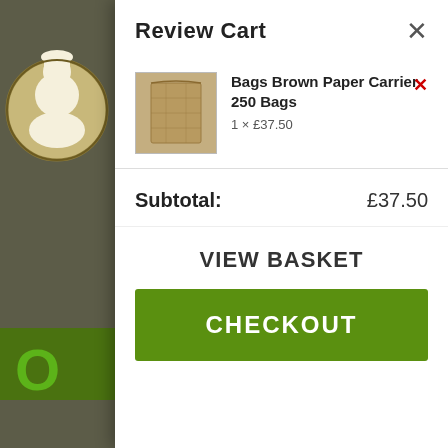Review Cart
Bags Brown Paper Carrier 250 Bags
1 × £37.50
Subtotal: £37.50
VIEW BASKET
CHECKOUT